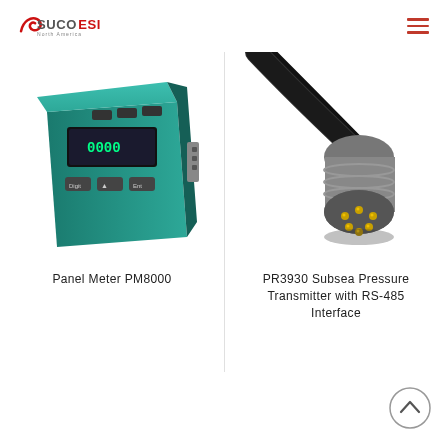SucoESI North America
[Figure (photo): Panel Meter PM8000 device with teal/green front panel and buttons]
Panel Meter PM8000
[Figure (photo): PR3930 Subsea Pressure Transmitter with RS-485 Interface — close-up of connector end with gold pins]
PR3930 Subsea Pressure Transmitter with RS-485 Interface